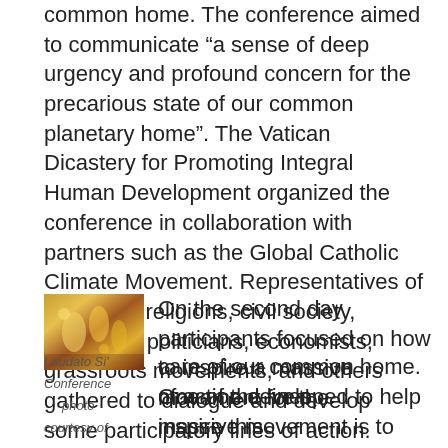common home. The conference aimed to communicate “a sense of deep urgency and profound concern for the precarious state of our common planetary home”. The Vatican Dicastery for Promoting Integral Human Development organized the conference in collaboration with partners such as the Global Catholic Climate Movement. Representatives of churches, religions, civil society, scientists, politicians, economists, grassroots movements, and others gathered to dialogue and develop some participatory lines of action.
[Figure (photo): A photo from the Laudato Si' Conference showing colorful gathering scene]
Laudato Si' Conference photo courtesy of
On the second day participants focused on how to inspire a massive movement for the care of our common home. One of the lines of action developed to help inspire this massive movement is to “engage the faithful in the celebration of the Season of Creation